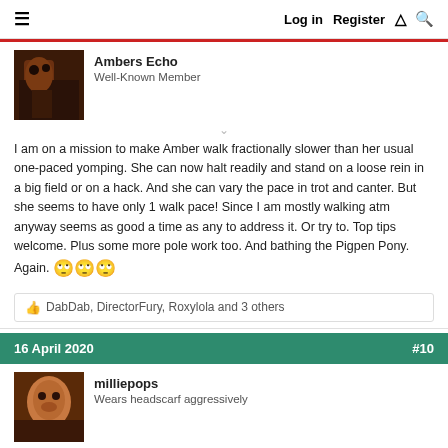Log in  Register  ⚡  🔍
Ambers Echo
Well-Known Member
I am on a mission to make Amber walk fractionally slower than her usual one-paced yomping. She can now halt readily and stand on a loose rein in a big field or on a hack. And she can vary the pace in trot and canter. But she seems to have only 1 walk pace! Since I am mostly walking atm anyway seems as good a time as any to address it. Or try to. Top tips welcome. Plus some more pole work too. And bathing the Pigpen Pony. Again. 🙄🙄🙄
👍 DabDab, DirectorFury, Roxylola and 3 others
16 April 2020  #10
milliepops
Wears headscarf aggressively